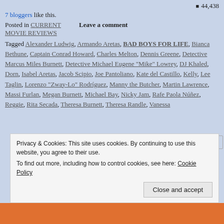44,438
7 bloggers like this.
Posted in CURRENT MOVIE REVIEWS   Leave a comment
Tagged Alexander Ludwig, Armando Aretas, BAD BOYS FOR LIFE, Bianca Bethune, Captain Conrad Howard, Charles Melton, Dennis Greene, Detective Marcus Miles Burnett, Detective Michael Eugene "Mike" Lowrey, DJ Khaled, Dorn, Isabel Aretas, Jacob Scipio, Joe Pantoliano, Kate del Castillo, Kelly, Lee Taglin, Lorenzo "Zway-Lo" Rodríguez, Manny the Butcher, Martin Lawrence, Massi Furlan, Megan Burnett, Michael Bay, Nicky Jam, Rafe Paola Núñez, Reggie, Rita Secada, Theresa Burnett, Theresa Randle, Vanessa
Privacy & Cookies: This site uses cookies. By continuing to use this website, you agree to their use.
To find out more, including how to control cookies, see here: Cookie Policy
Close and accept